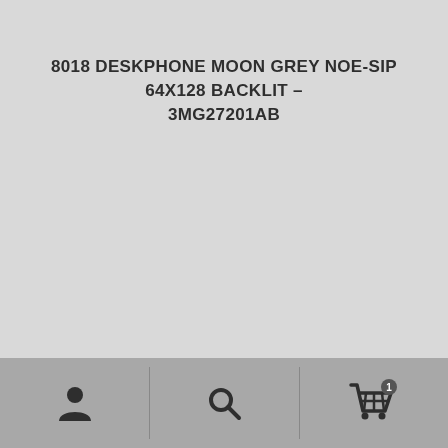8018 DESKPHONE MOON GREY NOE-SIP 64X128 BACKLIT – 3MG27201AB
[Figure (other): Bottom navigation bar with three icons: user/profile icon on the left, search/magnifying glass icon in the center, and shopping cart icon with badge showing '1' on the right.]